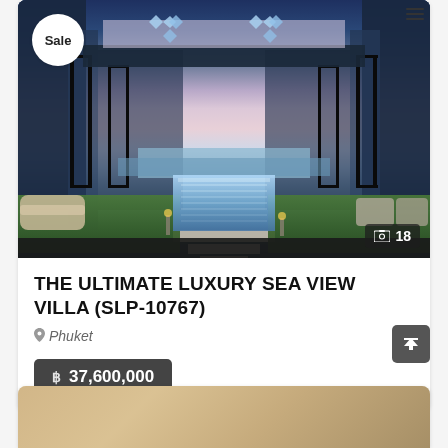[Figure (photo): Luxury villa with infinity pool, lush green lawn, large glass doors, and ocean view at dusk/twilight. A 'Sale' badge overlaid in top-left corner. Photo count badge showing 18 images in bottom-right.]
THE ULTIMATE LUXURY SEA VIEW VILLA (SLP-10767)
Phuket
฿  37,600,000
[Figure (photo): Partial view of a second property listing card at the bottom of the page, showing a wooden/rustic outdoor setting.]